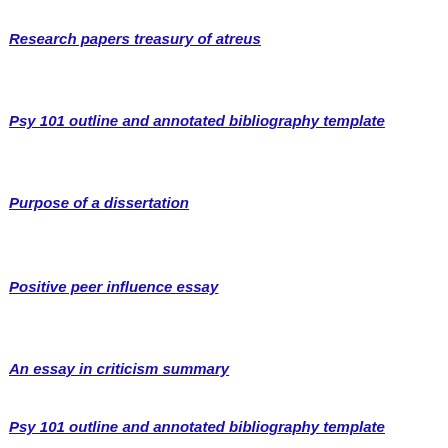Research papers treasury of atreus
Psy 101 outline and annotated bibliography template
Purpose of a dissertation
Positive peer influence essay
An essay in criticism summary
Psy 101 outline and annotated bibliography template